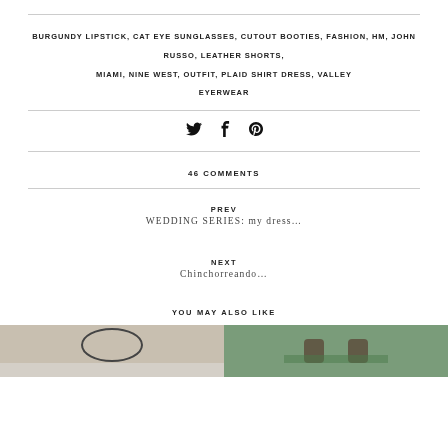BURGUNDY LIPSTICK, CAT EYE SUNGLASSES, CUTOUT BOOTIES, FASHION, HM, JOHN RUSSO, LEATHER SHORTS, MIAMI, NINE WEST, OUTFIT, PLAID SHIRT DRESS, VALLEY EYERWEAR
[Figure (other): Social share icons: Twitter bird, Facebook f, Pinterest p]
46 COMMENTS
PREV
WEDDING SERIES: my dress...
NEXT
Chinchorreando...
YOU MAY ALSO LIKE
[Figure (photo): Two thumbnail photos side by side: left shows a light-colored outdoor scene with a circular wire element, right shows a green outdoor scene with cups/glasses]